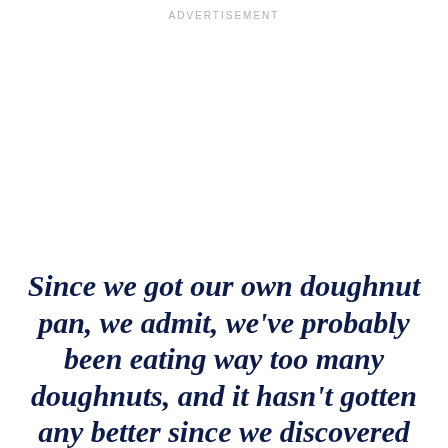ADVERTISEMENT
Since we got our own doughnut pan, we admit, we've probably been eating way too many doughnuts, and it hasn't gotten any better since we discovered these Chocolate Cake Baked